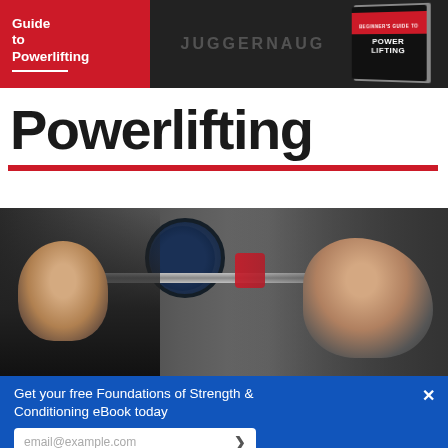[Figure (photo): Top banner showing a powerlifting book cover with red background and text 'Guide to Powerlifting', with a dark gym background and a 3D book mockup on the right]
Powerlifting
[Figure (photo): Gym photo showing a bald male coach on the left and a female athlete performing a bench press with a barbell loaded with weight plates]
Get your free Foundations of Strength & Conditioning eBook today
email@example.com